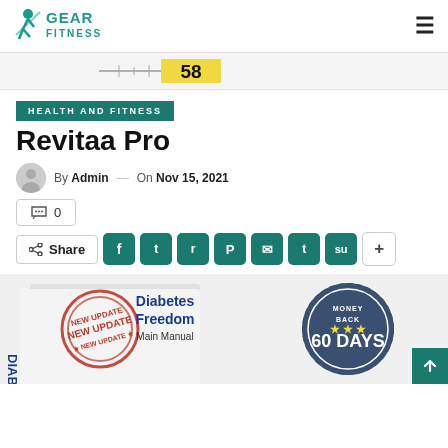GEAR FITNESS — hamburger menu
[Figure (other): Partial view of a ruler/measurement scale with yellow box showing number 58]
HEALTH AND FITNESS
Revitaa Pro
By Admin — On Nov 15, 2021
💬 0
< Share — social share buttons: Facebook, Twitter, Reddit, Pinterest, Email, Tumblr, StumbleUpon, +
[Figure (photo): Product box image showing 'Diabetes Freedom Main Manual' with NEW UPDATE stamp and a 60 DAYS MONEY BACK badge on the right]